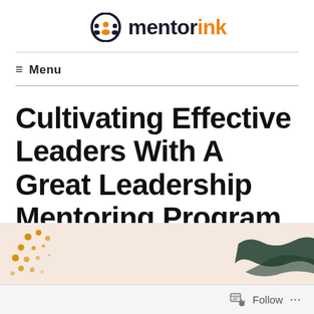[Figure (logo): MentorInk logo: orange and dark circular icon with figures, followed by bold text 'mentor' in dark and 'ink' in orange]
Menu
Cultivating Effective Leaders With A Great Leadership Mentoring Program
[Figure (illustration): Decorative banner image with beige/cream background, gold/orange dot pattern on the left, and dark green brushstroke on the right]
Follow ...